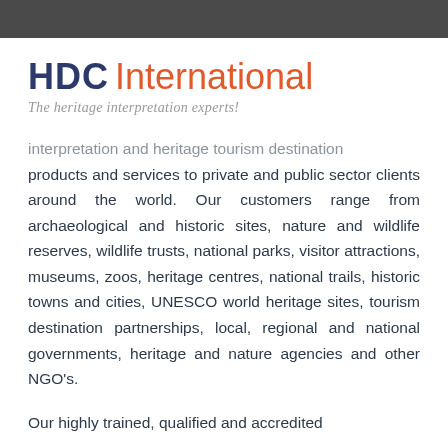[Figure (logo): HDC International logo with tagline 'The heritage interpretation experts!']
interpretation and heritage tourism destination products and services to private and public sector clients around the world. Our customers range from archaeological and historic sites, nature and wildlife reserves, wildlife trusts, national parks, visitor attractions, museums, zoos, heritage centres, national trails, historic towns and cities, UNESCO world heritage sites, tourism destination partnerships, local, regional and national governments, heritage and nature agencies and other NGO's.
Our highly trained, qualified and accredited